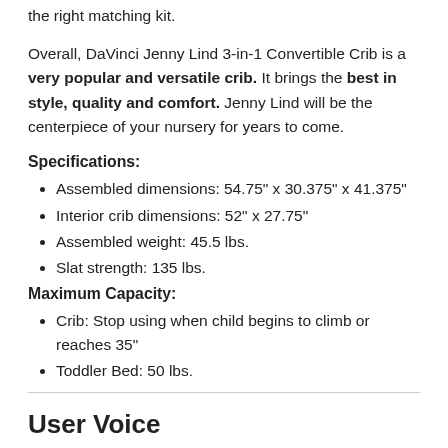the right matching kit.
Overall, DaVinci Jenny Lind 3-in-1 Convertible Crib is a very popular and versatile crib. It brings the best in style, quality and comfort. Jenny Lind will be the centerpiece of your nursery for years to come.
Specifications:
Assembled dimensions: 54.75" x 30.375" x 41.375"
Interior crib dimensions: 52" x 27.75"
Assembled weight: 45.5 lbs.
Slat strength: 135 lbs.
Maximum Capacity:
Crib: Stop using when child begins to climb or reaches 35"
Toddler Bed: 50 lbs.
User Voice